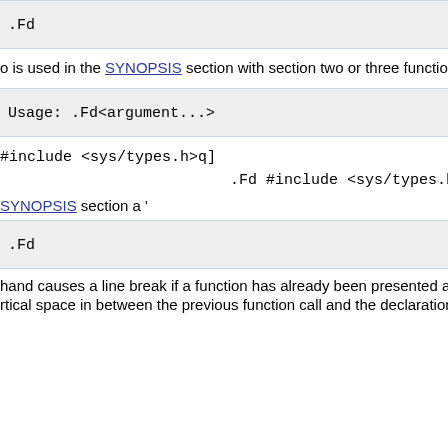.Fd
o is used in the SYNOPSIS section with section two or three functions. It is
Usage:  .Fd<argument...>
#include <sys/types.h>q]
.Fd #include <sys/types.h>
SYNOPSIS section a '
.Fd
hand causes a line break if a function has already been presented and a bre
rtical space in between the previous function call and the declaration fo th